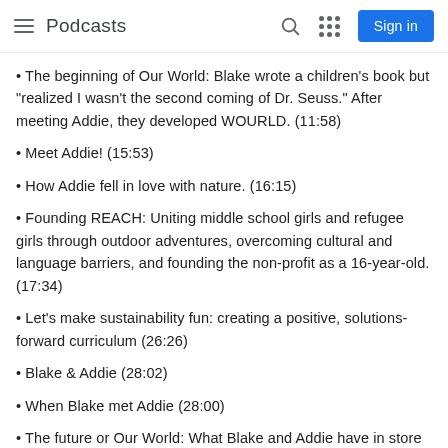Podcasts  Sign in
The beginning of Our World: Blake wrote a children's book but "realized I wasn't the second coming of Dr. Seuss." After meeting Addie, they developed WOURLD. (11:58)
Meet Addie! (15:53)
How Addie fell in love with nature. (16:15)
Founding REACH: Uniting middle school girls and refugee girls through outdoor adventures, overcoming cultural and language barriers, and founding the non-profit as a 16-year-old. (17:34)
Let's make sustainability fun: creating a positive, solutions-forward curriculum (26:26)
Blake & Addie (28:02)
When Blake met Addie (28:00)
The future or Our World: What Blake and Addie have in store for making climate change education fun, engaging, and just a